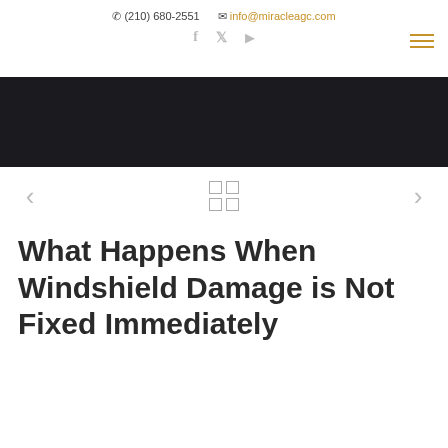✆ (210) 680-2551   ✉ info@miracleagc.com
[Figure (infographic): Social media icons: Facebook (f), Twitter (bird), Play/YouTube (triangle arrow), displayed in light grey]
[Figure (other): Hamburger menu icon with three horizontal orange lines, top-right corner]
[Figure (photo): Dark/black banner image area spanning full width]
[Figure (other): Navigation controls: left arrow chevron, 2x2 grid icon, right arrow chevron]
What Happens When Windshield Damage is Not Fixed Immediately